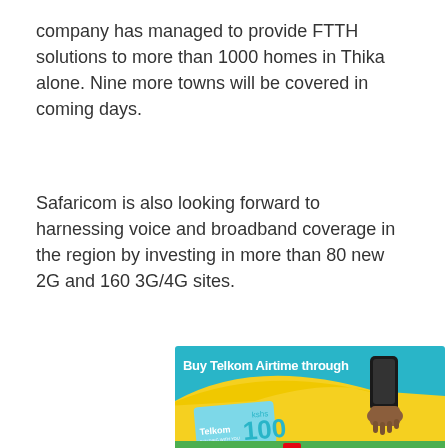company has managed to provide FTTH solutions to more than 1000 homes in Thika alone. Nine more towns will be covered in coming days.
Safaricom is also looking forward to harnessing voice and broadband coverage in the region by investing in more than 80 new 2G and 160 3G/4G sites.
[Figure (illustration): Advertisement for Buy Telkom Airtime through — shows a teal/cyan background with yellow swoosh, a hand holding a mobile phone, a Telkom-branded card showing 'kshs 100', and text at the bottom reading 'LIPA NA M-PESA']